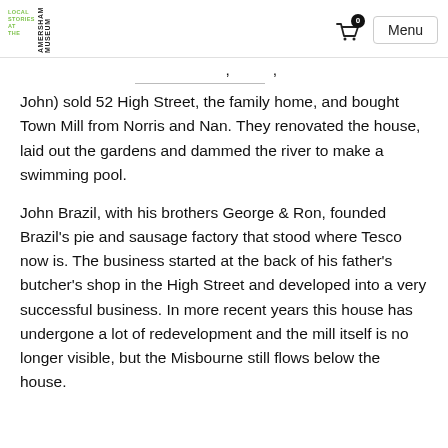LOCAL STORIES AT THE AMERSHAM MUSEUM | Menu
John) sold 52 High Street, the family home, and bought Town Mill from Norris and Nan. They renovated the house, laid out the gardens and dammed the river to make a swimming pool.
John Brazil, with his brothers George & Ron, founded Brazil's pie and sausage factory that stood where Tesco now is. The business started at the back of his father's butcher's shop in the High Street and developed into a very successful business. In more recent years this house has undergone a lot of redevelopment and the mill itself is no longer visible, but the Misbourne still flows below the house.